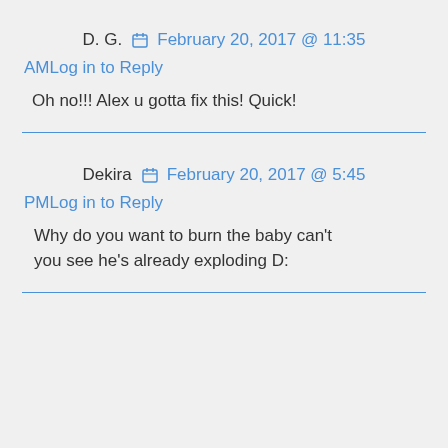D. G.   📅 February 20, 2017 @ 11:35
AMLog in to Reply
Oh no!!! Alex u gotta fix this! Quick!
Dekira   📅 February 20, 2017 @ 5:45
PMLog in to Reply
Why do you want to burn the baby can't you see he's already exploding D: